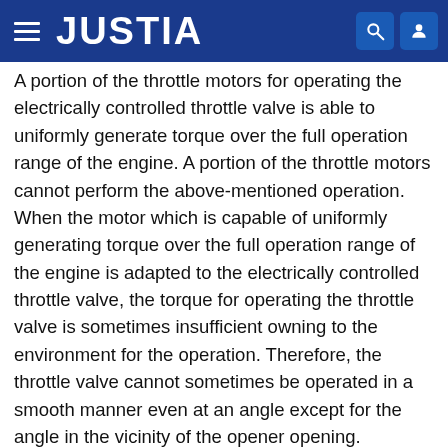JUSTIA
A portion of the throttle motors for operating the electrically controlled throttle valve is able to uniformly generate torque over the full operation range of the engine. A portion of the throttle motors cannot perform the above-mentioned operation. When the motor which is capable of uniformly generating torque over the full operation range of the engine is adapted to the electrically controlled throttle valve, the torque for operating the throttle valve is sometimes insufficient owning to the environment for the operation. Therefore, the throttle valve cannot sometimes be operated in a smooth manner even at an angle except for the angle in the vicinity of the opener opening.
Accordingly, the next embodiment is arranged to be capable of smoothly opening/closing the throttle valve even if the throttle valve is operated in the opening or closing direction...